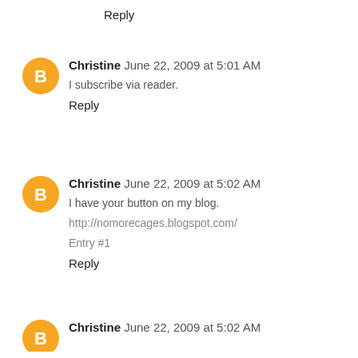Reply
Christine  June 22, 2009 at 5:01 AM
I subscribe via reader.
Reply
Christine  June 22, 2009 at 5:02 AM
I have your button on my blog.
http://nomorecages.blogspot.com/
Entry #1
Reply
Christine  June 22, 2009 at 5:02 AM